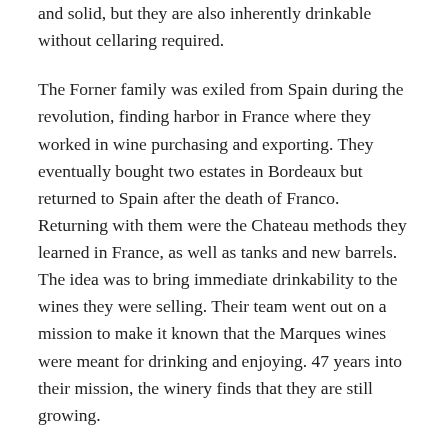and solid, but they are also inherently drinkable without cellaring required.
The Forner family was exiled from Spain during the revolution, finding harbor in France where they worked in wine purchasing and exporting. They eventually bought two estates in Bordeaux but returned to Spain after the death of Franco. Returning with them were the Chateau methods they learned in France, as well as tanks and new barrels. The idea was to bring immediate drinkability to the wines they were selling. Their team went out on a mission to make it known that the Marques wines were meant for drinking and enjoying. 47 years into their mission, the winery finds that they are still growing.
Marques de Caceres hasn't gone fully into the modern overripe style as some of the Spanish producers have. In fact, the overall sense is that they know their delicate